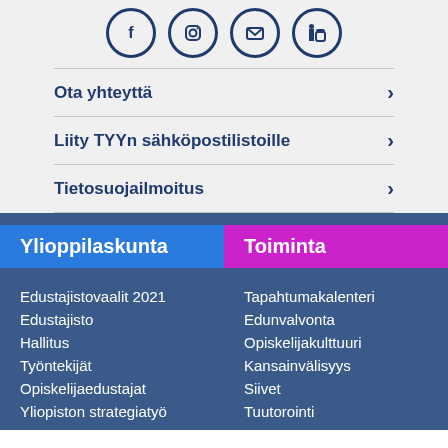[Figure (illustration): Four circular social media / contact icons with dark blue border outlines (Facebook, Instagram, email/envelope, LinkedIn style icons)]
Ota yhteyttä >
Liity TYYn sähköpostilistoille >
Tietosuojailmoitus >
Ylioppilaskunta
Toiminta
Edustajistovaalit 2021
Tapahtumakalenteri
Edustajisto
Edunvalvonta
Hallitus
Opiskelijakulttuuri
Työntekijät
Kansainvälisyys
Opiskelijaedustajat
Siivet
Yliopiston strategiatyö
Tuutorointi